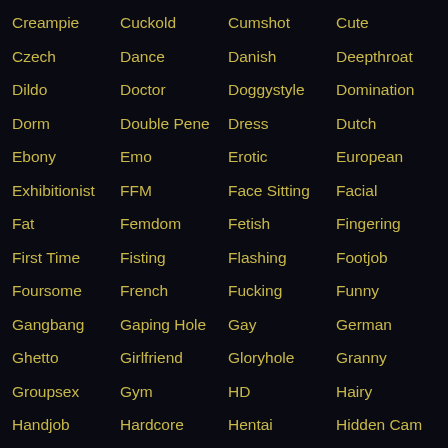Creampie
Cuckold
Cumshot
Cute
Czech
Dance
Danish
Deepthroat
Dildo
Doctor
Doggystyle
Domination
Dorm
Double Pene
Dress
Dutch
Ebony
Emo
Erotic
European
Exhibitionist
FFM
Face Sitting
Facial
Fat
Femdom
Fetish
Fingering
First Time
Fisting
Flashing
Footjob
Foursome
French
Fucking
Funny
Gangbang
Gaping Hole
Gay
German
Ghetto
Girlfriend
Gloryhole
Granny
Groupsex
Gym
HD
Hairy
Handjob
Hardcore
Hentai
Hidden Cam